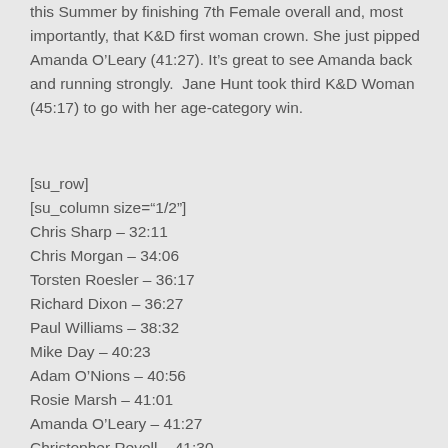this Summer by finishing 7th Female overall and, most importantly, that K&D first woman crown. She just pipped Amanda O'Leary (41:27). It's great to see Amanda back and running strongly.  Jane Hunt took third K&D Woman (45:17) to go with her age-category win.
[su_row]
[su_column size="1/2"]
Chris Sharp – 32:11
Chris Morgan – 34:06
Torsten Roesler – 36:17
Richard Dixon – 36:27
Paul Williams – 38:32
Mike Day – 40:23
Adam O'Nions – 40:56
Rosie Marsh – 41:01
Amanda O'Leary – 41:27
Christopher Revell – 41:30